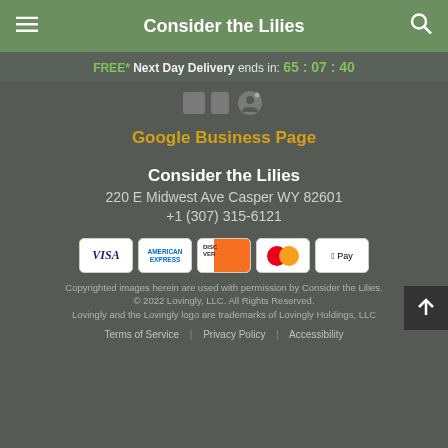Consider the Lilies
FREE* Next Day Delivery ends in: 65:07:40
[Figure (illustration): Social media icons: Facebook square, another square icon, and a smiley/profile circle icon]
Google Business Page
Consider the Lilies
220 E Midwest Ave Casper WY 82601
+1 (307) 315-6121
[Figure (infographic): Payment method icons: Visa, American Express, Discover, MasterCard, Apple Pay]
Copyrighted images herein are used with permission by Consider the Lilies.
© 2022 Lovingly, LLC. All Rights Reserved.
Lovingly and the Lovingly logo are trademarks of Lovingly Holdings, LLC
Terms of Service | Privacy Policy | Accessibility